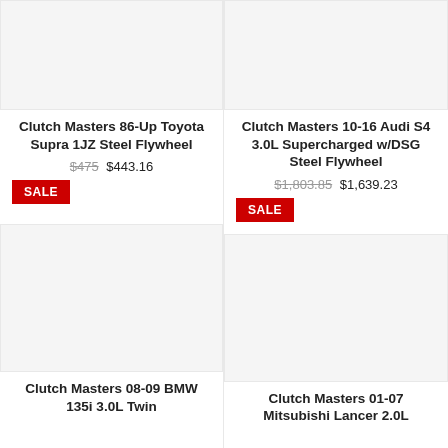[Figure (photo): Product image placeholder for Clutch Masters 86-Up Toyota Supra 1JZ Steel Flywheel]
Clutch Masters 86-Up Toyota Supra 1JZ Steel Flywheel
$475 $443.16
SALE
[Figure (photo): Product image placeholder for Clutch Masters 10-16 Audi S4 3.0L Supercharged w/DSG Steel Flywheel]
Clutch Masters 10-16 Audi S4 3.0L Supercharged w/DSG Steel Flywheel
$1,803.85 $1,639.23
SALE
[Figure (photo): Product image placeholder for Clutch Masters 08-09 BMW 135i 3.0L Twin]
Clutch Masters 08-09 BMW 135i 3.0L Twin
[Figure (photo): Product image placeholder for Clutch Masters 01-07 Mitsubishi Lancer 2.0L]
Clutch Masters 01-07 Mitsubishi Lancer 2.0L